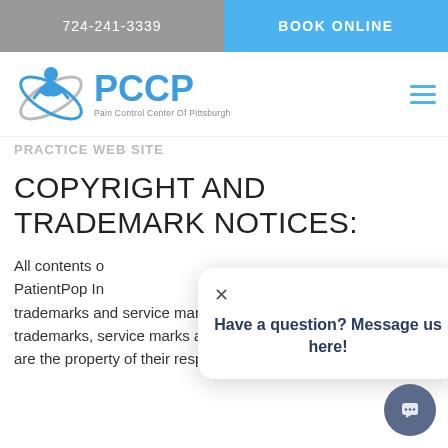724-241-3339 | BOOK ONLINE
[Figure (logo): PCCP Pain Control Center Of Pittsburgh logo with blue figure and orbital rings]
PRACTICE WEB SITE
COPYRIGHT AND TRADEMARK NOTICES:
All contents of this website are Copyright © PatientPop Inc. PCCP and PCCP logo are trademarks and service marks of PatientPop Inc. All other trademarks, service marks and logos used in this website are the property of their respective owners.